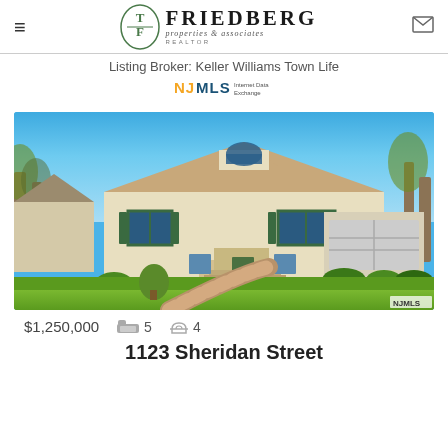Friedberg properties & associates REALTOR
Listing Broker: Keller Williams Town Life
[Figure (logo): NJMLS Internet Data Exchange logo]
[Figure (photo): Exterior photo of a two-story colonial-style home with brick walkway, green lawn, large garage, and blue sky]
$1,250,000  🛏 5  🏠 4
1123 Sheridan Street